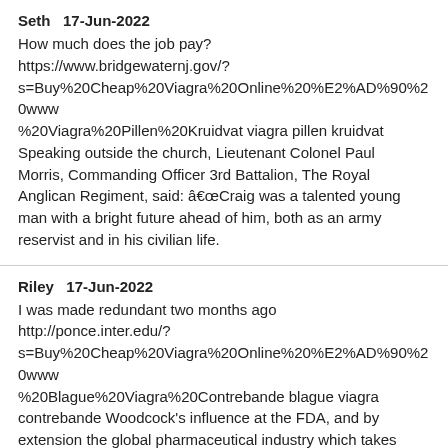Seth   17-Jun-2022
How much does the job pay? https://www.bridgewaternj.gov/?s=Buy%20Cheap%20Viagra%20Online%20%E2%AD%90%20www%20%20%20%20%20%20%20%20%20%20%20%20%20%20%20%20%20%20%20%20%20%20%20%20%20%20%20%20%20%20%20%20%20%20%20%20%20%20%20%20%20%20%20%20%20%20%20%20%20%20%20%20%20%20%20%20%20%20%20%20%20%20%20%20%20%20%20%20%20%20%20%20%20%20%20%20%20%20%20%20%20%20%20%20%20%20%20%20%20%20%20%20%20%20%20%20%20%20%20%20%20%20%20%20%20%20%20%20%20%20%20%20%20%20%20%20%20%20%20%20%20%20%20%20%20%20%20%20%20%20%20%20%20%20%20%20%20%20%20%20%20%20%20%20%20%20%20%20%20%20%20%20%20%20%20%20%20%20%20%20%20%20%20%20%20%20%20%20%20%20%20%20%20%20%20%20%20%20%20%20%20%20%20%20%20%20%20%20%20%20%20%20%20%20%20%20%20%20%20%20%20%20%20%20%20%20%20%20%20%20%20%20%20%20%20%20%20%20%20%20%20%20%20%20%20%20%20%20%20%20%20%20%20%20%20%20%20%20%20%20%20%20%20%20%20%20%20%20%20%20%20%20%20%20%20%20%20%20%20%20%20%20%20%20%20%20%20%20%20%20%20%20%20%20%20%20%20%20%20%20%20%20%20%20%20%20%20%20%20%20%20%20%20%20%20%20%20%20%20%20%20%20%20%20%20%20%20%20%20%20 %20Viagra%20Pillen%20Kruidvat viagra pillen kruidvat Speaking outside the church, Lieutenant Colonel Paul Morris, Commanding Officer 3rd Battalion, The Royal Anglican Regiment, said: âCraig was a talented young man with a bright future ahead of him, both as an army reservist and in his civilian life.
Riley   17-Jun-2022
I was made redundant two months ago http://ponce.inter.edu/?s=Buy%20Cheap%20Viagra%20Online%20%E2%AD%90%20www%20%20%20%20%20%20%20%20%20%20%20%20%20%20%20%20%20%20%20%20%20%20%20%20%20%20%20%20%20%20%20%20%20%20%20%20%20%20%20%20%20%20%20%20%20%20%20%20%20%20%20%20%20%20%20%20%20%20%20%20%20%20%20%20%20%20%20%20%20%20%20%20%20%20%20%20%20%20%20%20%20%20%20%20%20%20%20%20%20%20%20%20%20%20%20%20%20%20%20%20%20%20%20%20%20%20%20%20%20%20%20%20%20%20%20%20%20%20%20%20%20%20%20%20%20%20%20%20%20%20%20%20%20%20%20%20%20%20%20%20%20%20%20%20%20%20%20%20%20%20%20%20%20%20%20%20%20%20%20%20%20%20%20%20%20%20%20%20%20%20%20%20%20%20%20%20%20%20%20%20%20%20%20%20%20%20%20%20%20%20%20%20%20%20%20%20%20%20%20%20%20%20%20%20%20%20%20%20%20%20%20%20%20%20%20%20%20%20%20%20%20%20%20%20%20%20%20%20%20%20%20%20%20%20%20%20%20%20%20%20%20%20%20%20%20%20%20%20%20%20%20%20%20%20%20%20%20%20%20%20%20%20%20%20%20%20%20%20%20%20%20%20%20%20%20%20%20%20%20%20%20%20%20%20%20%20%20%20%20%20%20%20%20%20%20%20%20%20%20%20%20%20%20%20%20%20%20%20%20%20 %20Blague%20Viagra%20Contrebande blague viagra contrebande Woodcock’s influence at the FDA, and by extension the global pharmaceutical industry which takes its lead from the United States, is hard to overstate. While the commissioner may be the agency's public face, Woodcock is its institutional memory and driving